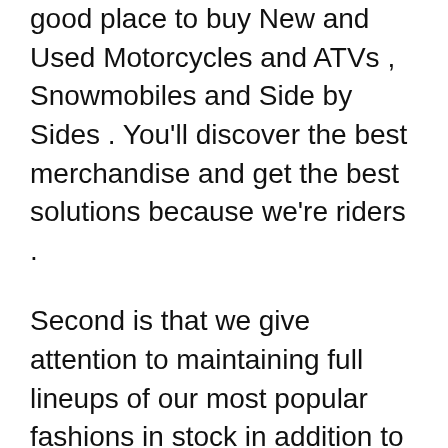good place to buy New and Used Motorcycles and ATVs , Snowmobiles and Side by Sides . You'll discover the best merchandise and get the best solutions because we're riders .
Second is that we give attention to maintaining full lineups of our most popular fashions in stock in addition to offering you completely different trim ranges and paint-color choices for these items. Side by Side shoppers, for example, will be impressed by the large choice of Suzuki concerning the big variety of New Suzuki Motorcycles we promote. Of course, Off-Road consumers atv nh aren't left out, for we feature quite a few equipment and elements for motocross, along with many other out there services. When it involves equipment and attire, we offer a big selection for both men and women. Our store is crammed with all types of helmets and apparel for off-road and snowmobile using.